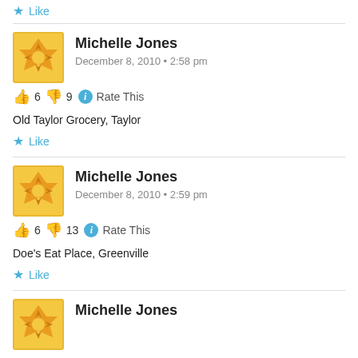Like (top)
Michelle Jones
December 8, 2010 • 2:58 pm
6 thumbs up, 9 thumbs down, Rate This
Old Taylor Grocery, Taylor
Like
Michelle Jones
December 8, 2010 • 2:59 pm
6 thumbs up, 13 thumbs down, Rate This
Doe's Eat Place, Greenville
Like
Michelle Jones (partial, bottom)